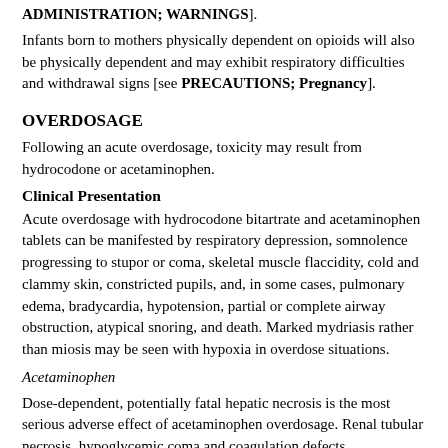ADMINISTRATION; WARNINGS].
Infants born to mothers physically dependent on opioids will also be physically dependent and may exhibit respiratory difficulties and withdrawal signs [see PRECAUTIONS; Pregnancy].
OVERDOSAGE
Following an acute overdosage, toxicity may result from hydrocodone or acetaminophen.
Clinical Presentation
Acute overdosage with hydrocodone bitartrate and acetaminophen tablets can be manifested by respiratory depression, somnolence progressing to stupor or coma, skeletal muscle flaccidity, cold and clammy skin, constricted pupils, and, in some cases, pulmonary edema, bradycardia, hypotension, partial or complete airway obstruction, atypical snoring, and death. Marked mydriasis rather than miosis may be seen with hypoxia in overdose situations.
Acetaminophen
Dose-dependent, potentially fatal hepatic necrosis is the most serious adverse effect of acetaminophen overdosage. Renal tubular necrosis, hypoglycemic coma and coagulation defects